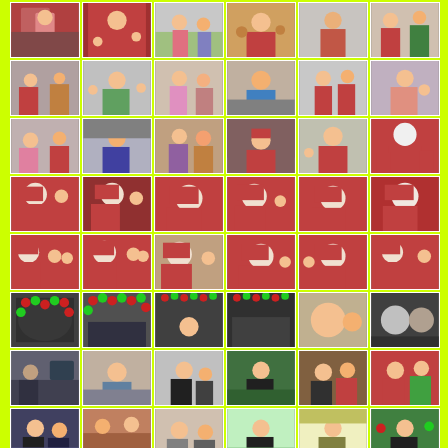[Figure (photo): Grid of Christmas party photos showing children dancing, Santa Claus with children, Christmas decorations with balloons, and adults at a party event. Photos are arranged in a 6-column by 8-row grid on a yellow-green background.]